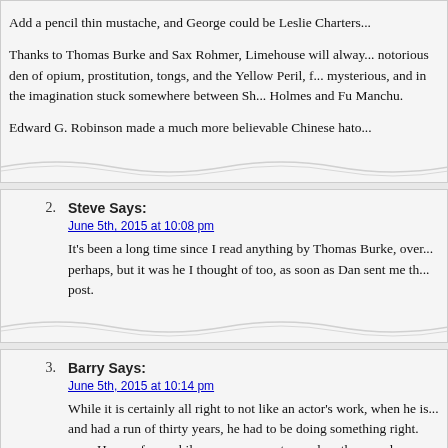Add a pencil thin mustache, and George could be Leslie Charters...
Thanks to Thomas Burke and Sax Rohmer, Limehouse will always be a notorious den of opium, prostitution, tongs, and the Yellow Peril, for mysterious, and in the imagination stuck somewhere between Sherlock Holmes and Fu Manchu.
Edward G. Robinson made a much more believable Chinese hato...
2. Steve Says: June 5th, 2015 at 10:08 pm — It's been a long time since I read anything by Thomas Burke, over perhaps, but it was he I thought of too, as soon as Dan sent me th post.
3. Barry Says: June 5th, 2015 at 10:14 pm — While it is certainly all right to not like an actor's work, when he is and had a run of thirty years, he had to be doing something right. now. He was for a while an enormous star, and on the way down effective in things like Rogue Cop and his television series, I Am T